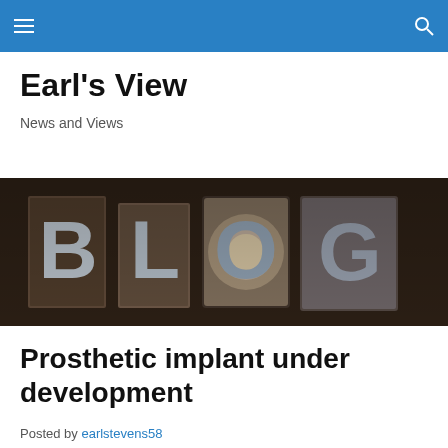≡  🔍
Earl's View
News and Views
[Figure (photo): Letterpress metal type blocks spelling out BLOG on a dark wooden surface]
Prosthetic implant under development
Posted by earlstevens58